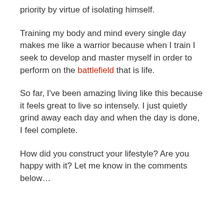priority by virtue of isolating himself.
Training my body and mind every single day makes me like a warrior because when I train I seek to develop and master myself in order to perform on the battlefield that is life.
So far, I've been amazing living like this because it feels great to live so intensely. I just quietly grind away each day and when the day is done, I feel complete.
How did you construct your lifestyle? Are you happy with it? Let me know in the comments below…